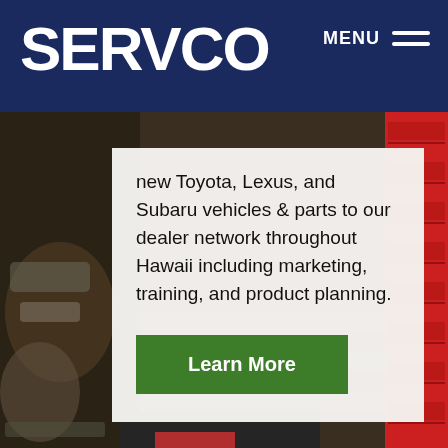SERVCO
new Toyota, Lexus, and Subaru vehicles & parts to our dealer network throughout Hawaii including marketing, training, and product planning.
Learn More
[Figure (photo): Background photo of mechanic working on a car engine, with a red tool cabinet visible on the right side]
HUI CAR SHARE